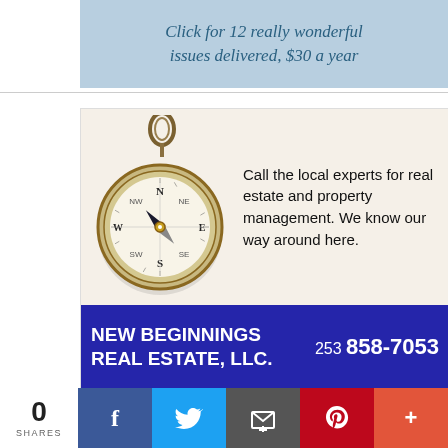Click for 12 really wonderful issues delivered, $30 a year
[Figure (illustration): Real estate advertisement featuring a compass image. Top cream section with compass and tagline 'Call the local experts for real estate and property management. We know our way around here.' Blue strip: NEW BEGINNINGS REAL ESTATE, LLC. 253 858-7053. Red strip: DK Property Management, LLC. 253 884-2076.]
0 SHARES
[Figure (infographic): Social share bar with Facebook, Twitter, Email, Pinterest, and More buttons]